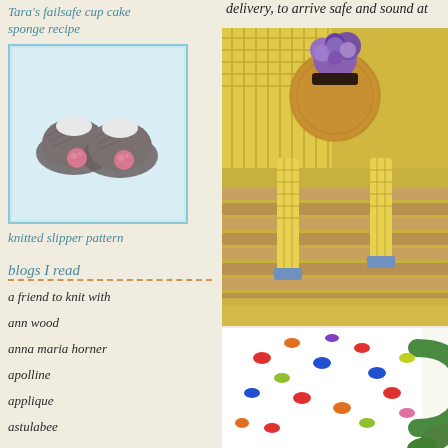Tara's failsafe cup cake sponge recipe
[Figure (photo): Knitted slippers with pink pom-poms on a light blue background]
knitted slipper pattern
blogs I read
a friend to knit with
ann wood
anna maria horner
apolline
applique
astulabee
attic 24
delivery, to arrive safe and sound at
[Figure (photo): Knitted doll with purple flower hat and yellow checked outfit sitting in a wooden basket]
[Figure (photo): White polka dot mug with colorful dots and green handle]